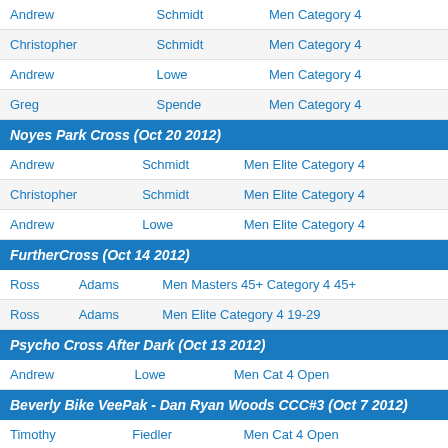| First | Last | Category |
| --- | --- | --- |
| Andrew | Schmidt | Men Category 4 |
| Christopher | Schmidt | Men Category 4 |
| Andrew | Lowe | Men Category 4 |
| Greg | Spende | Men Category 4 |
Noyes Park Cross (Oct 20 2012)
| First | Last | Category |
| --- | --- | --- |
| Andrew | Schmidt | Men Elite Category 4 |
| Christopher | Schmidt | Men Elite Category 4 |
| Andrew | Lowe | Men Elite Category 4 |
FurtherCross (Oct 14 2012)
| First | Last | Category |
| --- | --- | --- |
| Ross | Adams | Men Masters 45+ Category 4 45+ |
| Ross | Adams | Men Elite Category 4 19-29 |
Psycho Cross After Dark (Oct 13 2012)
| First | Last | Category |
| --- | --- | --- |
| Andrew | Lowe | Men Cat 4 Open |
Beverly Bike VeePak - Dan Ryan Woods CCC#3 (Oct 7 2012)
| First | Last | Category |
| --- | --- | --- |
| Timothy | Fiedler | Men Cat 4 Open |